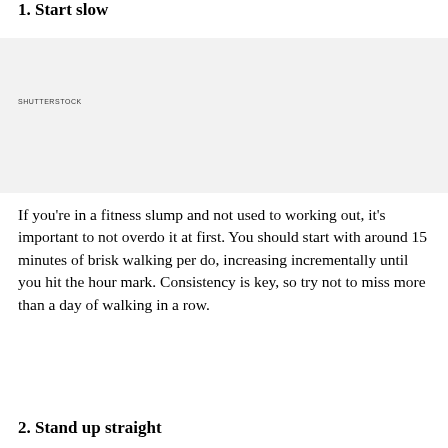1. Start slow
[Figure (photo): Image placeholder with SHUTTERSTOCK watermark label, light gray background]
If you're in a fitness slump and not used to working out, it's important to not overdo it at first. You should start with around 15 minutes of brisk walking per do, increasing incrementally until you hit the hour mark. Consistency is key, so try not to miss more than a day of walking in a row.
2. Stand up straight